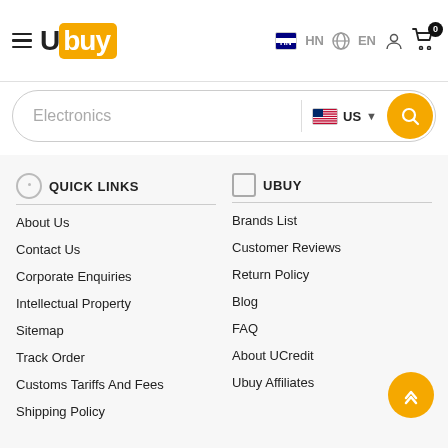Ubuy HN EN
[Figure (screenshot): Search bar with 'Electronics' placeholder text, US flag country selector, and yellow search button]
QUICK LINKS
About Us
Contact Us
Corporate Enquiries
Intellectual Property
Sitemap
Track Order
Customs Tariffs And Fees
Shipping Policy
UBUY
Brands List
Customer Reviews
Return Policy
Blog
FAQ
About UCredit
Ubuy Affiliates